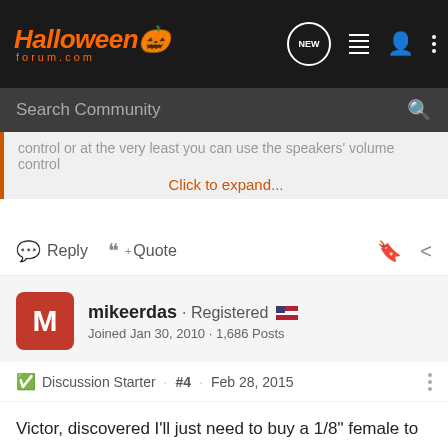HalloweenForum.com
Search Community
control or at the very least you can use the speakers' volume control
Click to expand...
Reply  Quote
mikeerdas · Registered 🇺🇸
Joined Jan 30, 2010 · 1,686 Posts
Discussion Starter · #4 · Feb 28, 2015
Victor, discovered I'll just need to buy a 1/8" female to 1/8" female coupler to get things running. The DVD player only has RCA L/R audio outs. I had a L/R RCA to 1/8" stereo cable. But the powered speakers I want to use only have a 1/8" male jack to receive audio. Stopped by a local Radio Shack for a "quick